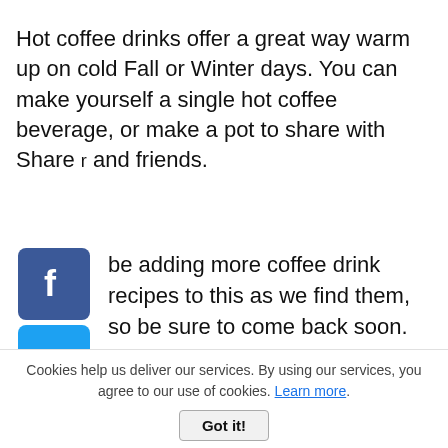Hot coffee drinks offer a great way warm up on cold Fall or Winter days. You can make yourself a single hot coffee beverage, or make a pot to share with Share and friends.
[Figure (illustration): Social media sharing icons stacked vertically: Facebook (blue), Twitter (light blue), Pinterest (red), Tumblr (dark blue), Reddit (orange), WhatsApp (green), Messenger (blue circle)]
be adding more coffee drink recipes to this as we find them, so be sure to come back soon.
nessee Mud
z Jack Daniels
Cookies help us deliver our services. By using our services, you agree to our use of cookies. Learn more.